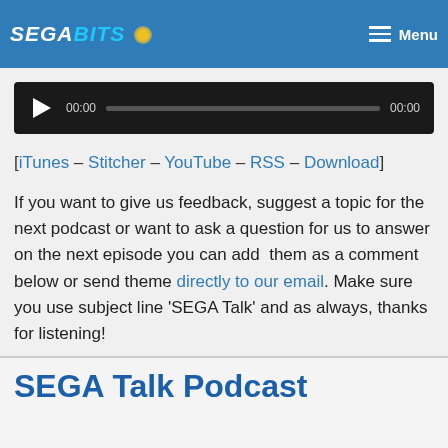SEGABITS | Menu
[Figure (other): Audio player with play button, current time 00:00, progress bar, and duration 00:00 on black background]
[iTunes – Stitcher – YouTube – RSS – Download]
If you want to give us feedback, suggest a topic for the next podcast or want to ask a question for us to answer on the next episode you can add  them as a comment below or send theme directly to our email. Make sure you use subject line 'SEGA Talk' and as always, thanks for listening!
No Comments
SEGA Talk Podcast